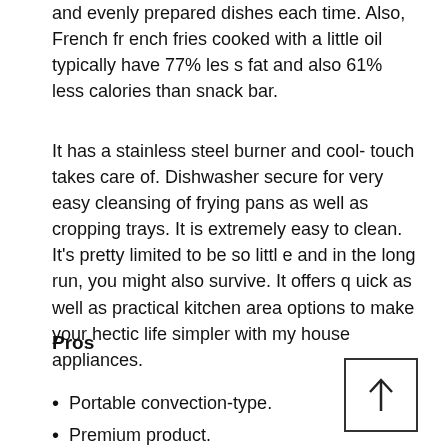and evenly prepared dishes each time. Also, French french fries cooked with a little oil typically have 77% less fat and also 61% less calories than snack bar.
It has a stainless steel burner and cool-touch takes care of. Dishwasher secure for very easy cleansing of frying pans as well as cropping trays. It is extremely easy to clean. It's pretty limited to be so little and in the long run, you might also survive. It offers quick as well as practical kitchen area options to make your hectic life simpler with my house appliances.
Pros
Portable convection-type.
Premium product.